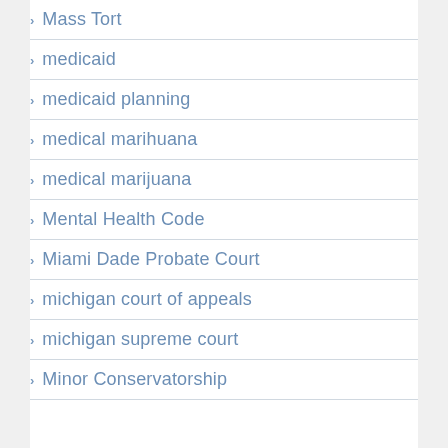Mass Tort
medicaid
medicaid planning
medical marihuana
medical marijuana
Mental Health Code
Miami Dade Probate Court
michigan court of appeals
michigan supreme court
Minor Conservatorship